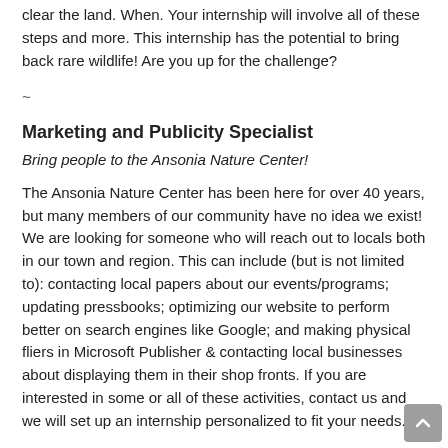clear the land. When. Your internship will involve all of these steps and more. This internship has the potential to bring back rare wildlife! Are you up for the challenge?
~
Marketing and Publicity Specialist
Bring people to the Ansonia Nature Center!
The Ansonia Nature Center has been here for over 40 years, but many members of our community have no idea we exist! We are looking for someone who will reach out to locals both in our town and region. This can include (but is not limited to): contacting local papers about our events/programs; updating pressbooks; optimizing our website to perform better on search engines like Google; and making physical fliers in Microsoft Publisher & contacting local businesses about displaying them in their shop fronts. If you are interested in some or all of these activities, contact us and we will set up an internship personalized to fit your needs.
~